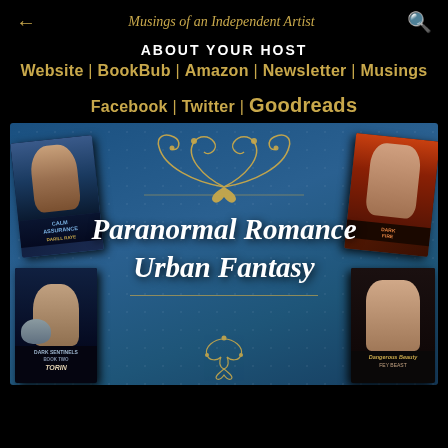← Musings of an Independent Artist 🔍
About Your Host
Website | BookBub | Amazon | Newsletter | Musings
Facebook | Twitter | Goodreads
[Figure (illustration): Paranormal Romance Urban Fantasy banner with four book covers (Calm Assurance by Darill Raye, Dark Sentinels Book Two Torin, and two others), gold ornamental flourishes, and text 'Paranormal Romance Urban Fantasy' on a blue damask background]